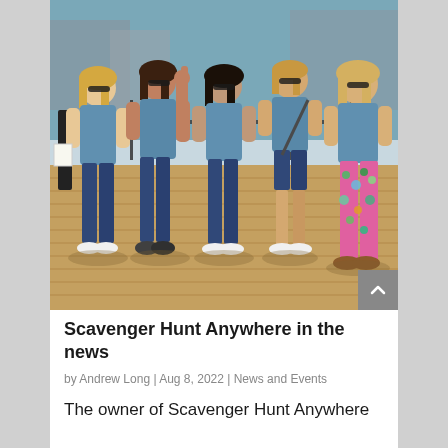[Figure (photo): Five women wearing matching light blue tank tops posing on a wooden dock near a marina. One woman on the right is wearing colorful patterned pants. They are smiling and one is giving a thumbs up. Water and dock structures visible in the background.]
Scavenger Hunt Anywhere in the news
by Andrew Long | Aug 8, 2022 | News and Events
The owner of Scavenger Hunt Anywhere